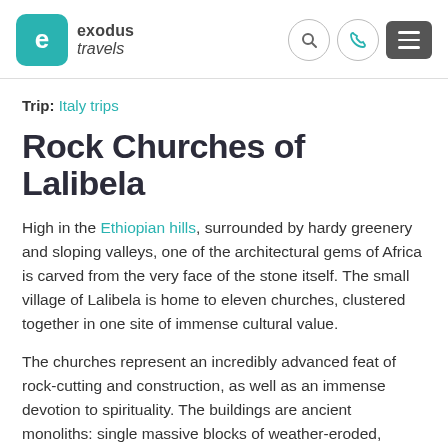[Figure (logo): Exodus Travels logo with teal rounded square icon containing letter 'e', and text 'exodus travels']
exodus travels [header with search, phone, and menu icons]
Trip: Italy trips
Rock Churches of Lalibela
High in the Ethiopian hills, surrounded by hardy greenery and sloping valleys, one of the architectural gems of Africa is carved from the very face of the stone itself. The small village of Lalibela is home to eleven churches, clustered together in one site of immense cultural value.
The churches represent an incredibly advanced feat of rock-cutting and construction, as well as an immense devotion to spirituality. The buildings are ancient monoliths: single massive blocks of weather-eroded, moss-covered rock, thought to include amongst their number the largest monolithic church in the world, Biete